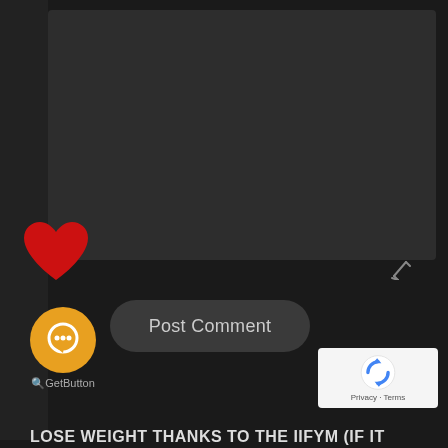[Figure (screenshot): Dark video/content area placeholder on a dark background webpage]
[Figure (illustration): Red heart/like icon on dark background]
[Figure (illustration): Small pencil/edit icon on dark background]
Post Comment
[Figure (logo): GetButton orange circle chat bubble icon with label '2GetButton']
[Figure (illustration): Google reCAPTCHA badge with Privacy and Terms links]
LOSE WEIGHT THANKS TO THE IIFYM (IF IT